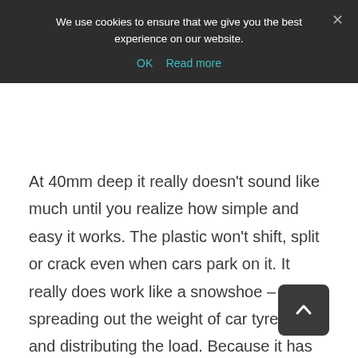We use cookies to ensure that we give you the best experience on our website.
OK  Read more
At 40mm deep it really doesn't sound like much until you realize how simple and easy it works. The plastic won't shift, split or crack even when cars park on it. It really does work like a snowshoe – spreading out the weight of car tyres – and distributing the load. Because it has so much empty space – the grass grows and the grid doesn't show any more.
Grass can be planted or seeded and the roots get protected by the grid. After rain, the Ecogrid water to gradually absorb into the soil below. To me, this is